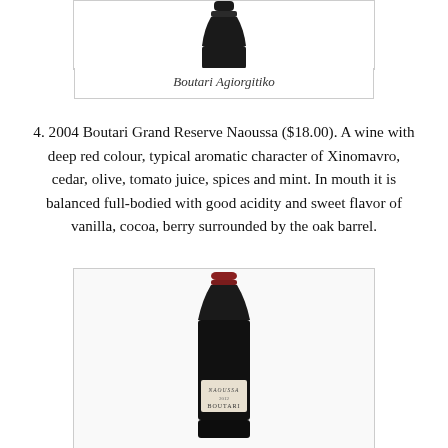[Figure (photo): Top portion of a dark wine bottle against white background, partially cropped at top]
Boutari Agiorgitiko
4. 2004 Boutari Grand Reserve Naoussa ($18.00). A wine with deep red colour, typical aromatic character of Xinomavro, cedar, olive, tomato juice, spices and mint. In mouth it is balanced full-bodied with good acidity and sweet flavor of vanilla, cocoa, berry surrounded by the oak barrel.
[Figure (photo): Full dark wine bottle with red cap and label reading NAOUSSA 2012 BOUTARI, in a bordered image box]